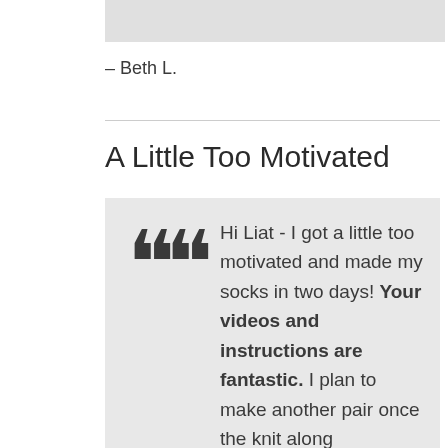[Figure (photo): Partial image strip at the top of the page, light gray cropped photograph]
– Beth L.
A Little Too Motivated
Hi Liat - I got a little too motivated and made my socks in two days! Your videos and instructions are fantastic. I plan to make another pair once the knit along